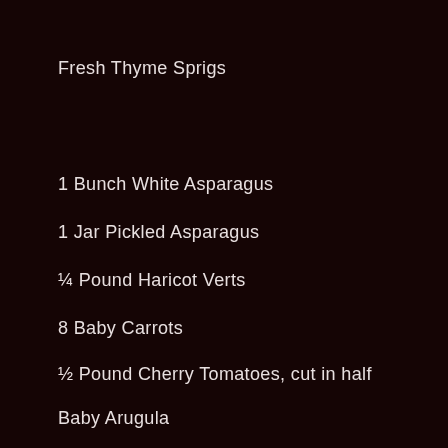Fresh Thyme Sprigs
1 Bunch White Asparagus
1 Jar Pickled Asparagus
¼ Pound Haricot Verts
8 Baby Carrots
½ Pound Cherry Tomatoes, cut in half
Baby Arugula
Fresh Herbs